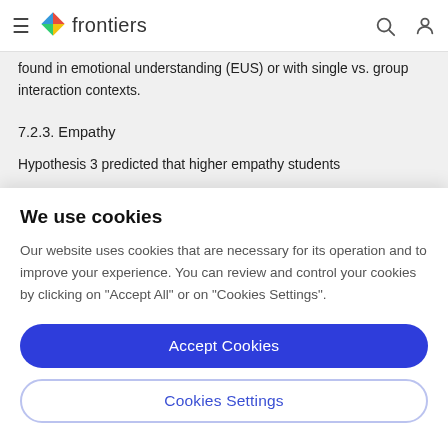frontiers
found in emotional understanding (EUS) or with single vs. group interaction contexts.
7.2.3. Empathy
Hypothesis 3 predicted that higher empathy students
We use cookies
Our website uses cookies that are necessary for its operation and to improve your experience. You can review and control your cookies by clicking on "Accept All" or on "Cookies Settings".
Accept Cookies
Cookies Settings